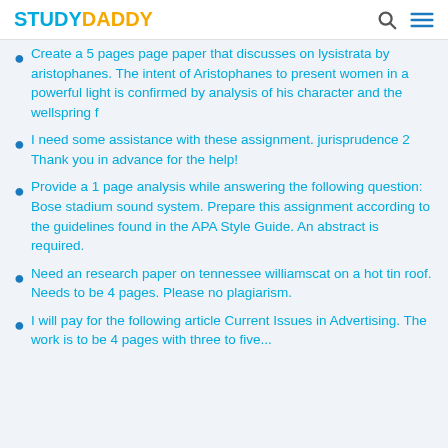STUDYDADDY
Create a 5 pages page paper that discusses on lysistrata by aristophanes. The intent of Aristophanes to present women in a powerful light is confirmed by analysis of his character and the wellspring f
I need some assistance with these assignment. jurisprudence 2 Thank you in advance for the help!
Provide a 1 page analysis while answering the following question: Bose stadium sound system. Prepare this assignment according to the guidelines found in the APA Style Guide. An abstract is required.
Need an research paper on tennessee williamscat on a hot tin roof. Needs to be 4 pages. Please no plagiarism.
I will pay for the following article Current Issues in Advertising. The work is to be 4 pages with three to five...